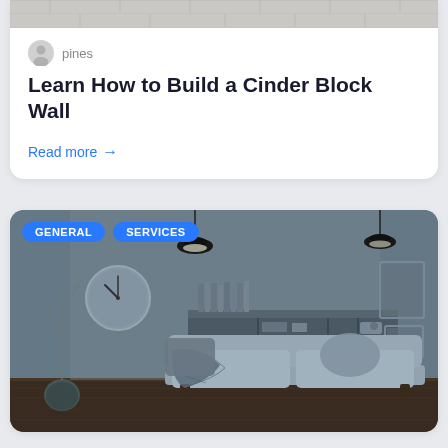[Figure (photo): Top portion of a card showing a textured wall/brick image strip at the top]
pines
Learn How to Build a Cinder Block Wall
Read more →
[Figure (photo): Interior room scene with grey walls, pendant lamps, floating shelf with books, wall clock, sofa with throw blanket and pillows, plant in vase, and picture frames. Tagged with GENERAL and SERVICES badges in blue.]